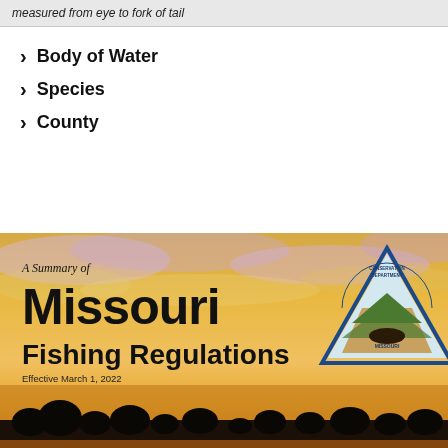measured from eye to fork of tail
Body of Water
Species
County
[Figure (illustration): Cover of Missouri Fishing Regulations booklet showing sunset sky with text 'A Summary of Missouri Fishing Regulations, Effective March 1, 2022' and Missouri Conservation Department triangle logo]